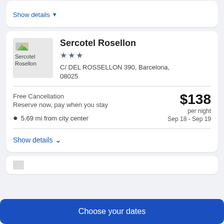Show details ▼
Sercotel Rosellon
★★★
C/ DEL ROSSELLON 390, Barcelona, 08025
Free Cancellation
Reserve now, pay when you stay
5.69 mi from city center
$138 per night
Sep 18 - Sep 19
Show details ⌄
Choose your dates